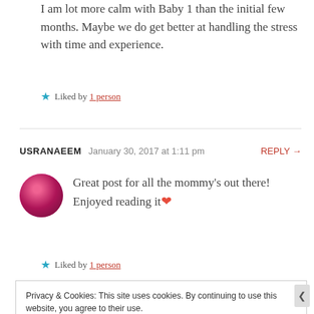I am lot more calm with Baby 1 than the initial few months. Maybe we do get better at handling the stress with time and experience.
★ Liked by 1 person
USRANAEEM  January 30, 2017 at 1:11 pm  REPLY →
Great post for all the mommy's out there! Enjoyed reading it ❤
★ Liked by 1 person
Privacy & Cookies: This site uses cookies. By continuing to use this website, you agree to their use. To find out more, including how to control cookies, see here: Cookie Policy  Close and accept